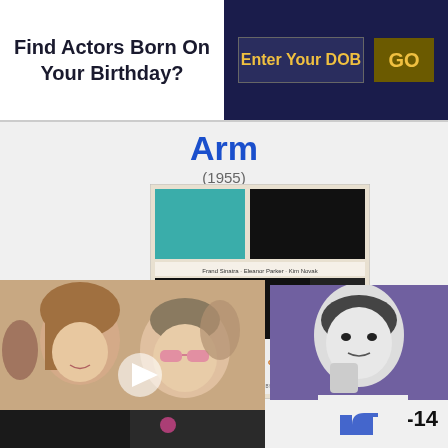Find Actors Born On Your Birthday?
Enter Your DOB
GO
Arm
(1955)
[Figure (photo): Movie poster for 'The Man With The Golden Arm' (1955), with teal and black geometric shapes and film imagery]
[Figure (photo): Photo of two celebrities posing together, one wearing pink sunglasses]
[Figure (photo): Black and white close-up photo of a man]
V-14